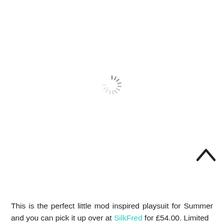[Figure (other): A circular loading spinner icon (animated spinner placeholder) centered in the upper portion of the page]
[Figure (other): A chevron/caret up arrow icon (^) in dark color, positioned at the bottom right area]
This is the perfect little mod inspired playsuit for Summer and you can pick it up over at SilkFred for £54.00. Limited sizes are available, with some already gone, so fitt...